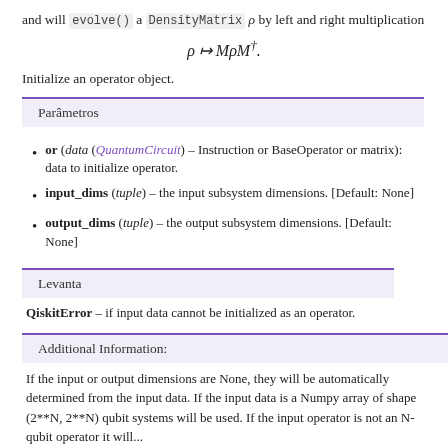and will evolve() a DensityMatrix ρ by left and right multiplication
Initialize an operator object.
Parâmetros
or (data (QuantumCircuit) – Instruction or BaseOperator or matrix): data to initialize operator.
input_dims (tuple) – the input subsystem dimensions. [Default: None]
output_dims (tuple) – the output subsystem dimensions. [Default: None]
Levanta
QiskitError – if input data cannot be initialized as an operator.
Additional Information:
If the input or output dimensions are None, they will be automatically determined from the input data. If the input data is a Numpy array of shape (2**N, 2**N) qubit systems will be used. If the input operator is not an N-qubit operator it will...